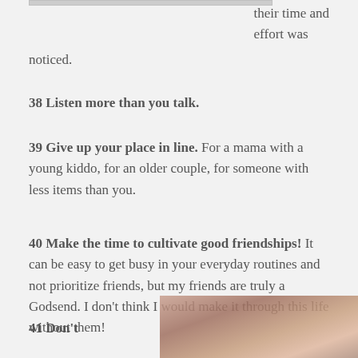their time and effort was noticed.
38 Listen more than you talk.
39 Give up your place in line. For a mama with a young kiddo, for an older couple, for someone with less items than you.
40 Make the time to cultivate good friendships! It can be easy to get busy in your everyday routines and not prioritize friends, but my friends are truly a Godsend. I don't think I would make it through this life without them!
41 Don't
[Figure (photo): A photo of people, partially visible at bottom right of page]